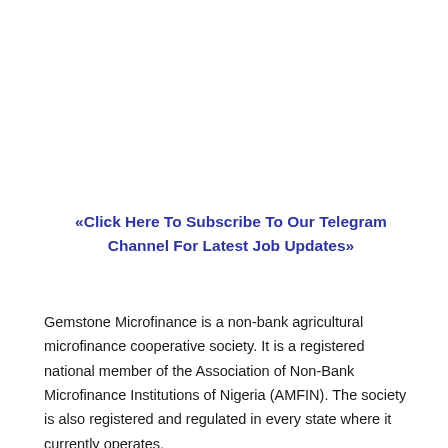«Click Here To Subscribe To Our Telegram Channel For Latest Job Updates»
Gemstone Microfinance is a non-bank agricultural microfinance cooperative society. It is a registered national member of the Association of Non-Bank Microfinance Institutions of Nigeria (AMFIN). The society is also registered and regulated in every state where it currently operates.